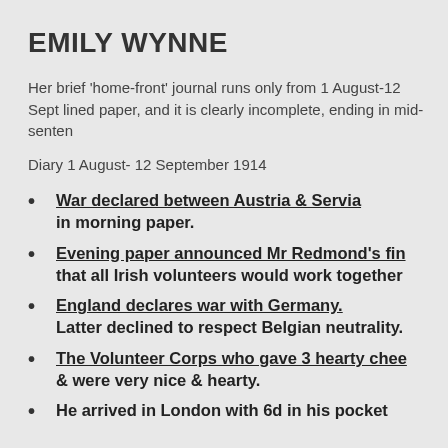EMILY WYNNE
Her brief ‘home-front’ journal runs only from 1 August-12 Sept lined paper, and it is clearly incomplete, ending in mid-senten
Diary 1 August- 12 September 1914
War declared between Austria & Servia in morning paper.
Evening paper announced Mr Redmond’s fin that all Irish volunteers would work together
England declares war with Germany. Latter declined to respect Belgian neutrality.
The Volunteer Corps who gave 3 hearty chee & were very nice & hearty.
He arrived in London with 6d in his pocket